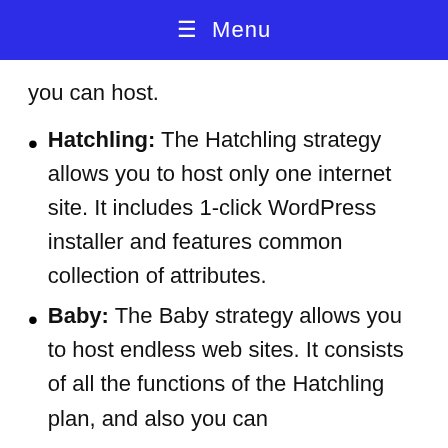☰ Menu
you can host.
Hatchling: The Hatchling strategy allows you to host only one internet site. It includes 1-click WordPress installer and features common collection of attributes.
Baby: The Baby strategy allows you to host endless web sites. It consists of all the functions of the Hatchling plan, and also you can